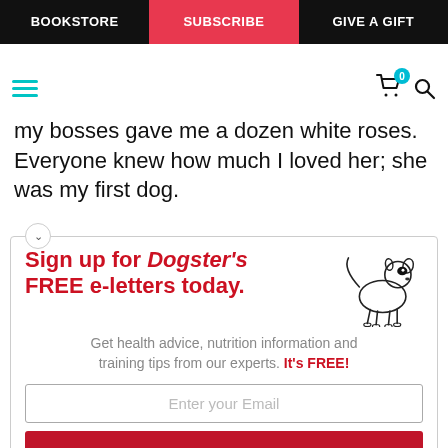BOOKSTORE | SUBSCRIBE | GIVE A GIFT
my bosses gave me a dozen white roses. Everyone knew how much I loved her; she was my first dog.
[Figure (infographic): Sign up for Dogster's FREE e-letters today. Get health advice, nutrition information and training tips from our experts. It's FREE! Email input and YES! SIGN ME UP button.]